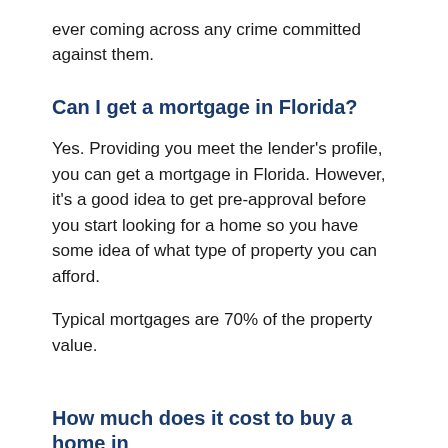ever coming across any crime committed against them.
Can I get a mortgage in Florida?
Yes. Providing you meet the lender’s profile, you can get a mortgage in Florida. However, it’s a good idea to get pre-approval before you start looking for a home so you have some idea of what type of property you can afford.
Typical mortgages are 70% of the property value.
How much does it cost to buy a home in